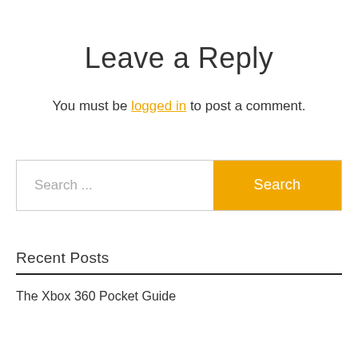Leave a Reply
You must be logged in to post a comment.
[Figure (screenshot): Search bar with text input field showing placeholder 'Search ...' and an orange Search button]
Recent Posts
The Xbox 360 Pocket Guide